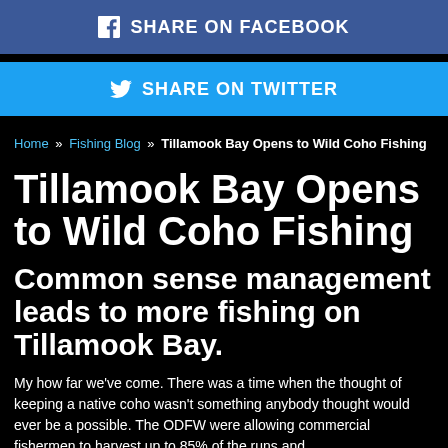[Figure (other): Share on Facebook button - dark blue background with Facebook icon and white text]
[Figure (other): Share on Twitter button - light blue background with Twitter bird icon and white text]
Home » Fishing Blog » Tillamook Bay Opens to Wild Coho Fishing
Tillamook Bay Opens to Wild Coho Fishing
Common sense management leads to more fishing on Tillamook Bay.
My how far we've come. There was a time when the thought of keeping a native coho wasn't something anybody thought would ever be a possible. The ODFW were allowing commercial fishermen to harvest up to 85% of the runs and